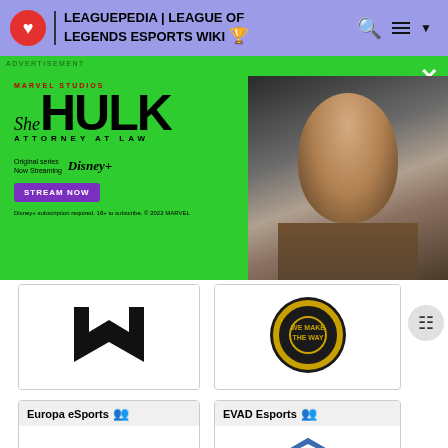LEAGUEPEDIA | LEAGUE OF LEGENDS ESPORTS WIKI
[Figure (screenshot): She-Hulk Attorney at Law advertisement banner on green background with Marvel Studios branding, Disney+ streaming info, and actress photo]
[Figure (logo): Partially visible team logo card - black bookmark/chevron logo]
[Figure (logo): Partially visible team logo card - gold circular logo with 'WE MAKE THE WAY' text]
Europa eSports
[Figure (logo): Europa eSports logo - gold letter L]
EVAD Esports
[Figure (logo): EVAD Esports logo - blue and black geometric house shape with EVAD ESPORTS text]